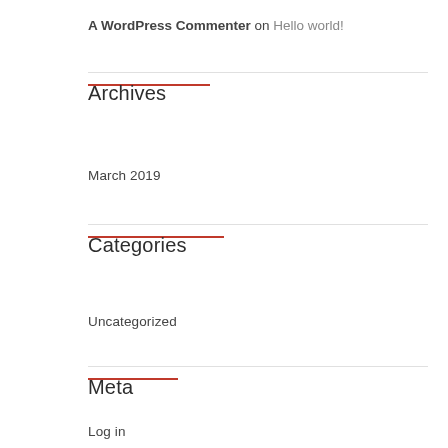A WordPress Commenter on Hello world!
Archives
March 2019
Categories
Uncategorized
Meta
Log in